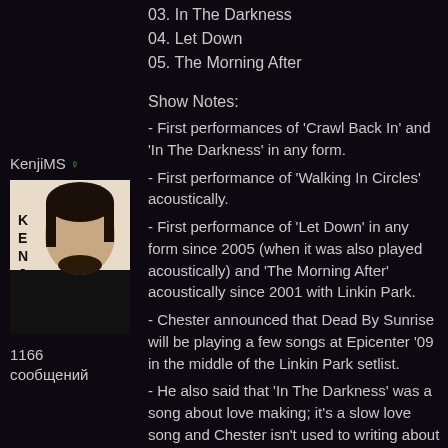03. In The Darkness
04. Let Down
05. The Morning After
KenjiMS ♀
[Figure (photo): Avatar photo of a man with dark hair and beard wearing a dark jacket, with letters K E N J I written vertically on the left side]
1166 сообщений
Show Notes:
- First performances of 'Crawl Back In' and 'In The Darkness' in any form.
- First performance of 'Walking In Circles' acoustically.
- First performance of 'Let Down' in any form since 2005 (when it was also played acoustically) and 'The Morning After' acoustically since 2001 with Linkin Park.
- Chester announced that Dead By Sunrise will be playing a few songs at Epicenter '09 in the middle of the Linkin Park setlist.
- He also said that 'In The Darkness' was a song about love making; it's a slow love song and Chester isn't used to writing about that.